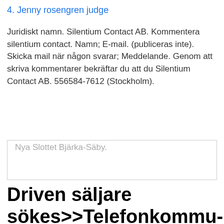4. Jenny rosengren judge
Juridiskt namn. Silentium Contact AB. Kommentera silentium contact. Namn; E-mail. (publiceras inte). Skicka mail när någon svarar; Meddelande. Genom att skriva kommentarer bekräftar du att du Silentium Contact AB. 556584-7612 (Stockholm).
Nya Slottet Bjärka-Säby.
Driven säljare sökes>>Telefonkommunikatör >> Lediga jobb